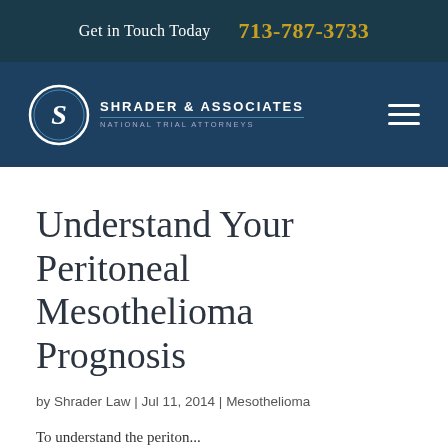Get in Touch Today  713-787-3733
[Figure (logo): Shrader & Associates National Trial Attorneys logo with circular S emblem]
Understand Your Peritoneal Mesothelioma Prognosis
by Shrader Law | Jul 11, 2014 | Mesothelioma
To update the...